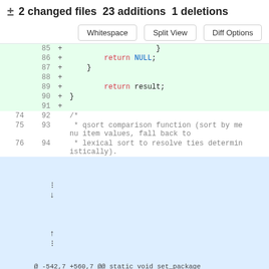± 2 changed files 23 additions 1 deletions
[Figure (screenshot): Git diff view showing code changes with line numbers, added/removed lines highlighted in green/red, with Whitespace, Split View, Diff Options buttons]
Whitespace | Split View | Diff Options
85 + }
86 + return NULL;
87 + }
88 +
89 +     return result;
90 + }
91 +
74 92     /*
75 93     * qsort comparison function (sort by menu item values, fall back to
76 94     * lexical sort to resolve ties deterministically).
@ -542,7 +560,7 @@ static void set_package_title(di_system_package *p) {
542 560
543 561     if (!p->installer_menu_item)
544 562         return;
545     asprintf(&title, "debian-install